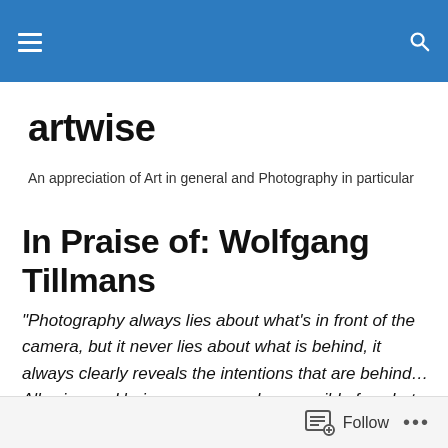artwise — navigation bar with hamburger menu and search icon
artwise
An appreciation of Art in general and Photography in particular
In Praise of: Wolfgang Tillmans
“Photography always lies about what’s in front of the camera, but it never lies about what is behind, it always clearly reveals the intentions that are behind… Allowing and being as prepared as possible for what might happen, while staying open for what chance may come into play, is my way of working.”
Follow •••